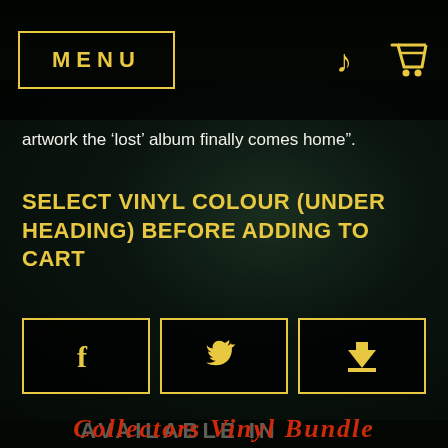MENU
artwork the 'lost' album finally comes home".
SELECT VINYL COLOUR (UNDER HEADING) BEFORE ADDING TO CART
[Figure (other): Three social share buttons with icons: Facebook (f), Twitter (bird), and a save/bookmark icon, each outlined in gold on dark background]
AVAILABLE IN
Collectors Vinyl Bundle